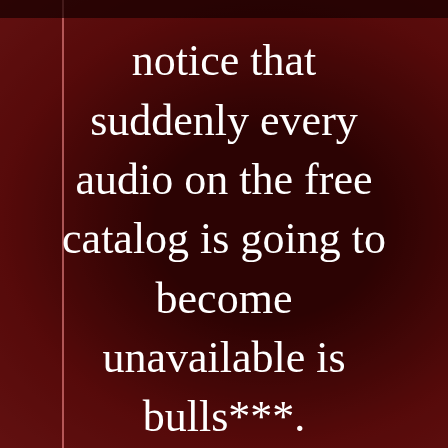[Figure (photo): Dark reddish-brown blurred background photo with a dark silhouette in the center, with a faint vertical line on the left side]
notice that suddenly every audio on the free catalog is going to become unavailable is bulls***.